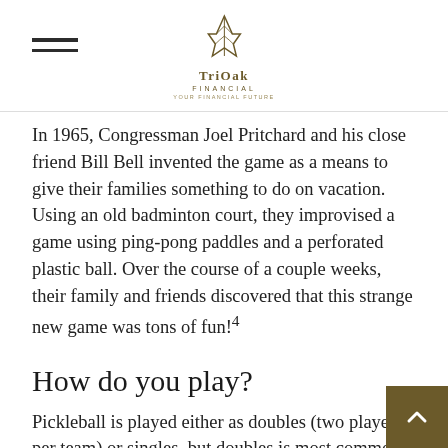TriOak Financial
In 1965, Congressman Joel Pritchard and his close friend Bill Bell invented the game as a means to give their families something to do on vacation. Using an old badminton court, they improvised a game using ping-pong paddles and a perforated plastic ball. Over the course of a couple weeks, their family and friends discovered that this strange new game was tons of fun!4
How do you play?
Pickleball is played either as doubles (two players per team) or singles, but doubles is most common. This doesn't mean you have to bring a partner though. Many leagues and communities have members that are more than happy to play with new teammates.